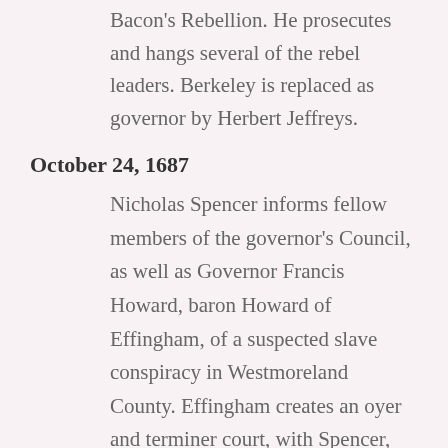Bacon's Rebellion. He prosecutes and hangs several of the rebel leaders. Berkeley is replaced as governor by Herbert Jeffreys.
October 24, 1687
Nicholas Spencer informs fellow members of the governor's Council, as well as Governor Francis Howard, baron Howard of Effingham, of a suspected slave conspiracy in Westmoreland County. Effingham creates an oyer and terminer court, with Spencer, Richard Lee II, and Isaac Allerton to serve as judges. The trial's results are unknown.